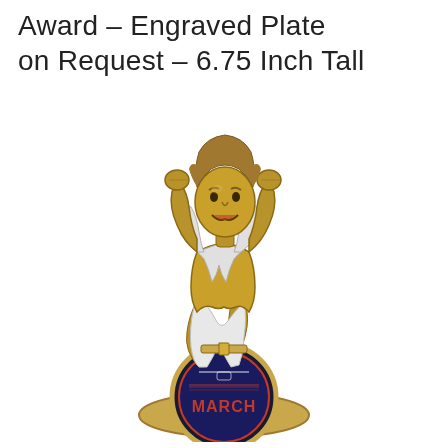Award – Engraved Plate on Request – 6.75 Inch Tall
[Figure (photo): A gold and silver resin trophy figurine of a muscular person tearing open their shirt (superhero-style), kneeling on a base with a circular March Madness basketball emblem that reads 'MARCH'.]